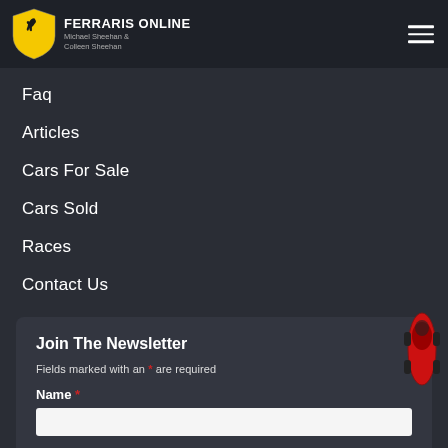FERRARIS ONLINE — Michael Sheehan & Colleen Sheehan
Faq
Articles
Cars For Sale
Cars Sold
Races
Contact Us
Join The Newsletter
Fields marked with an * are required
Name *